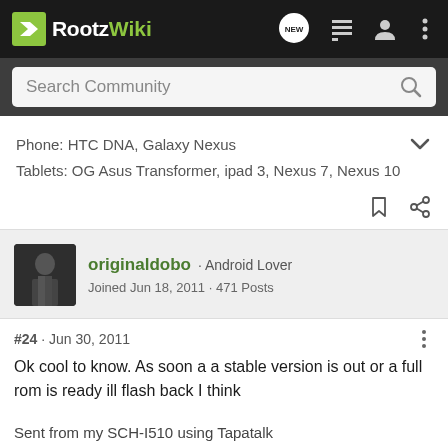RootzWiki
Search Community
Phone: HTC DNA, Galaxy Nexus
Tablets: OG Asus Transformer, ipad 3, Nexus 7, Nexus 10
originaldobo · Android Lover
Joined Jun 18, 2011 · 471 Posts
#24 · Jun 30, 2011
Ok cool to know. As soon a a stable version is out or a full rom is ready ill flash back I think
Sent from my SCH-I510 using Tapatalk